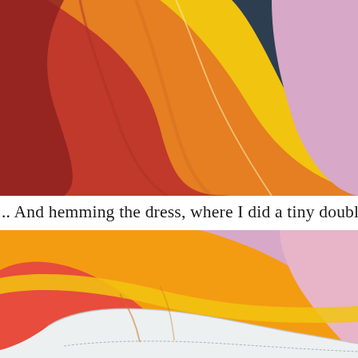[Figure (photo): Close-up photograph of colorful draped fabric in red, orange, yellow, navy, and lavender/pink tones.]
.. And hemming the dress, where I did a tiny double fold no
[Figure (photo): Close-up photograph of colorful draped and hemmed fabric showing yellow, orange, pink/lavender, and white folded edge with visible stitching.]